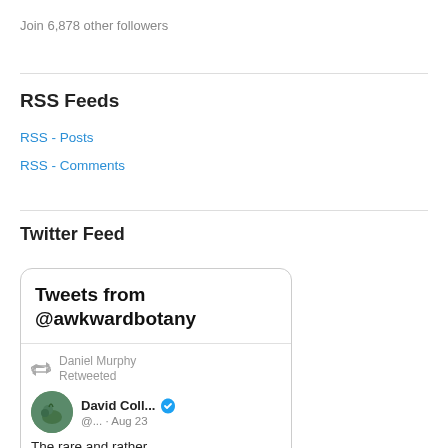Join 6,878 other followers
RSS Feeds
RSS - Posts
RSS - Comments
Twitter Feed
[Figure (screenshot): Twitter feed widget showing 'Tweets from @awkwardbotany' header, with a retweet by Daniel Murphy of a tweet by David Coll... (@...) dated Aug 23, beginning 'The rare and rather']